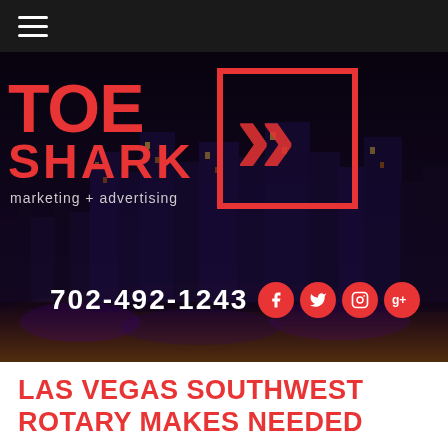[Figure (screenshot): Dark navigation bar with hamburger menu icon (three white horizontal lines) on dark/black background]
[Figure (photo): Toe Shark marketing + advertising company logo and Las Vegas night skyline hero banner with phone number 702-492-1243 and social media icons (Facebook, Twitter, Instagram, Google+)]
LAS VEGAS SOUTHWEST ROTARY MAKES NEEDED